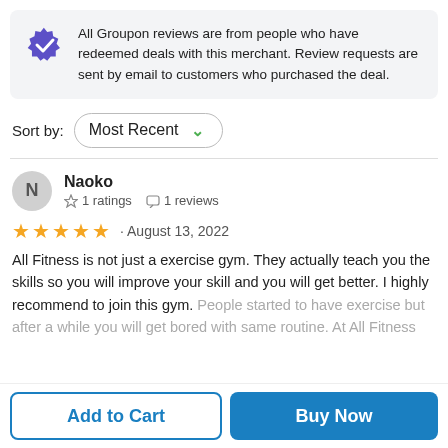All Groupon reviews are from people who have redeemed deals with this merchant. Review requests are sent by email to customers who purchased the deal.
Sort by: Most Recent
Naoko
☆ 1 ratings  ◻ 1 reviews
★★★★★ · August 13, 2022
All Fitness is not just a exercise gym. They actually teach you the skills so you will improve your skill and you will get better. I highly recommend to join this gym. People started to have exercise but after a while you will get bored with same routine. At All Fitness
Add to Cart
Buy Now